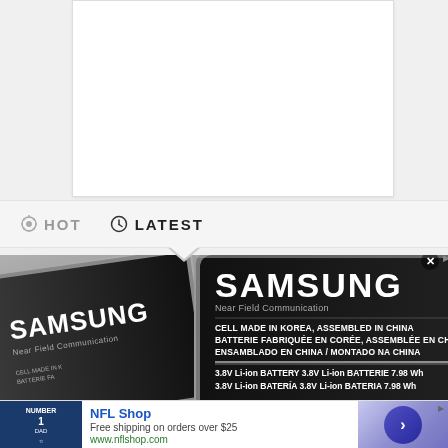[Figure (screenshot): White content box on gray background at the top of the page]
HOT   LATEST
[Figure (photo): Close-up photo of two Samsung Near Field Communication batteries. The batteries have black labels printed with: SAMSUNG, Near Field Communication, CELL MADE IN KOREA, ASSEMBLED IN CHINA / BATTERIE FABRIQUÉE EN CORÉE, ASSEMBLÉE EN CHINE / ENSAMBLADO EN CHINA / MONTADO NA CHINA / 3.8V Li-ion BATTERY 3.8V Li-ion BATTERIE 7.98 Wh / 3.8V Li-ion BATERÍA 3.8V Li-ion BATERIA 7.98 Wh]
[Figure (infographic): NFL Shop advertisement banner. Shows a Dallas Cowboys #1 DAD jersey shirt on blue background, text: NFL Shop, Free shipping on orders over $25, www.nflshop.com, with a circular blue arrow button on the right]